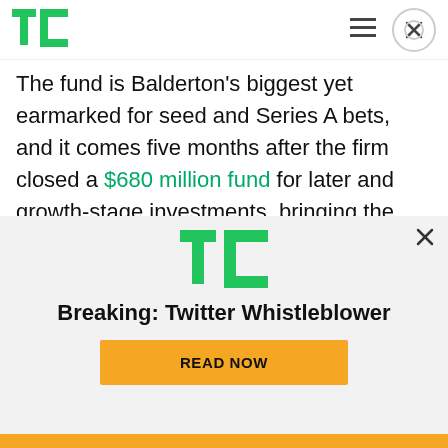TechCrunch logo, hamburger menu, close button
The fund is Balderton’s biggest yet earmarked for seed and Series A bets, and it comes five months after the firm closed a $680 million fund for later and growth-stage investments, bringing the total funds to over $1.2 billion.
Balderton has traditionally been seen as one of the big four VCs based out of London — the other three
[Figure (logo): TechCrunch TC logo in green, overlay modal with Breaking: Twitter Whistleblower headline and READ NOW button in yellow]
Breaking: Twitter Whistleblower
READ NOW